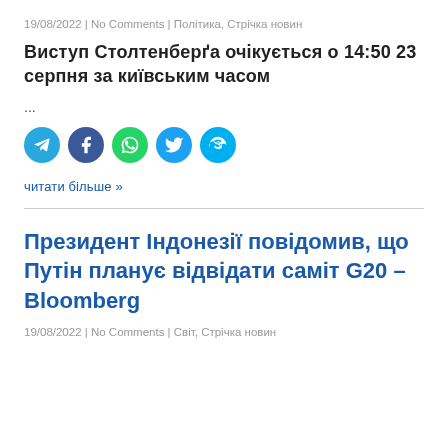19/08/2022 | No Comments | Політика, Стрічка новин
Виступ Столтенберґа очікується о 14:50 23 серпня за київським часом
...
[Figure (other): Social media share icons: Telegram, Facebook, WhatsApp, Twitter, Skype]
читати більше »
Президент Індонезії повідомив, що Путін планує відвідати саміт G20 – Bloomberg
19/08/2022 | No Comments | Світ, Стрічка новин